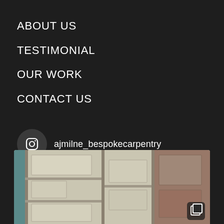ABOUT US
TESTIMONIAL
OUR WORK
CONTACT US
ajmilne_bespokecarpentry
[Figure (photo): Close-up photo of bespoke carpentry work showing panel doors with geometric raised rectangular details in cream/beige MDF or timber, with a copy/multiple icon in the bottom-right corner]